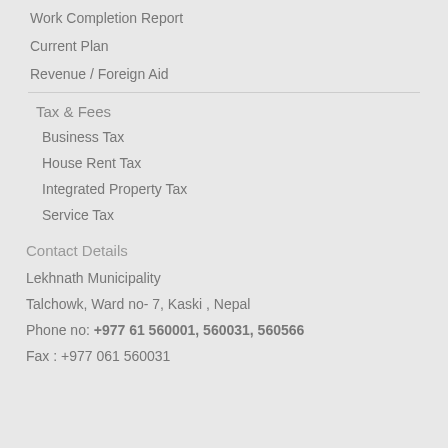Work Completion Report
Current Plan
Revenue / Foreign Aid
Tax & Fees
Business Tax
House Rent Tax
Integrated Property Tax
Service Tax
Contact Details
Lekhnath Municipality
Talchowk, Ward no- 7, Kaski , Nepal
Phone no: +977 61 560001, 560031, 560566
Fax : +977 061 560031